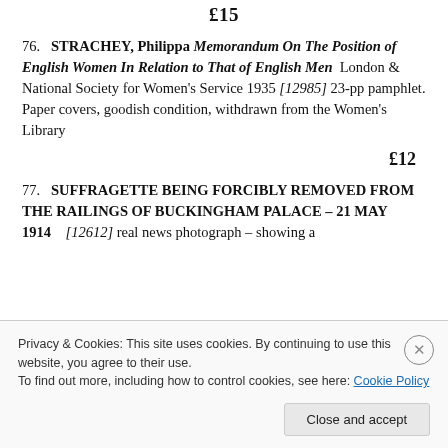£15
76. STRACHEY, Philippa Memorandum On The Position of English Women In Relation to That of English Men  London & National Society for Women's Service 1935 [12985] 23-pp pamphlet. Paper covers, goodish condition, withdrawn from the Women's Library
£12
77. SUFFRAGETTE BEING FORCIBLY REMOVED FROM THE RAILINGS OF BUCKINGHAM PALACE – 21 MAY 1914    [12612] real news photograph – showing a
Privacy & Cookies: This site uses cookies. By continuing to use this website, you agree to their use.
To find out more, including how to control cookies, see here: Cookie Policy